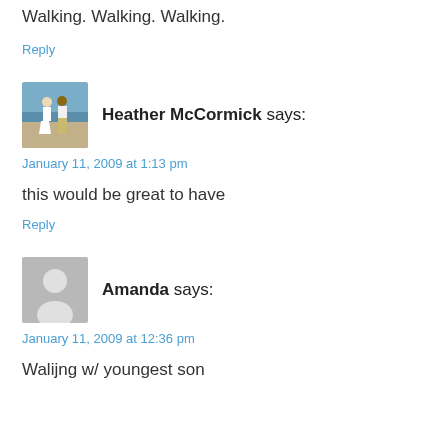Walking. Walking. Walking.
Reply
[Figure (photo): Avatar photo of Heather McCormick: a couple standing on a beach, one in a white dress and one in a white shirt and khaki pants]
Heather McCormick says:
January 11, 2009 at 1:13 pm
this would be great to have
Reply
[Figure (photo): Generic user avatar placeholder: gray silhouette of a person on gray background]
Amanda says:
January 11, 2009 at 12:36 pm
Walijng w/ youngest son